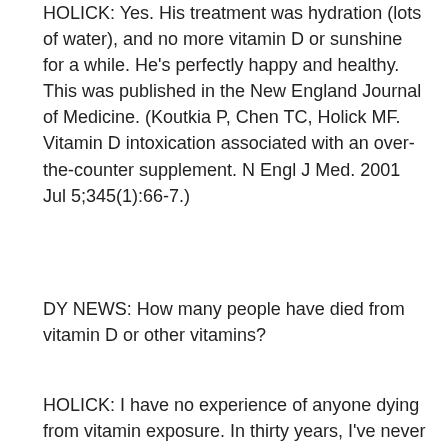HOLICK: Yes. His treatment was hydration (lots of water), and no more vitamin D or sunshine for a while. He's perfectly happy and healthy. This was published in the New England Journal of Medicine. (Koutkia P, Chen TC, Holick MF. Vitamin D intoxication associated with an over-the-counter supplement. N Engl J Med. 2001 Jul 5;345(1):66-7.)
DY NEWS: How many people have died from vitamin D or other vitamins?
HOLICK: I have no experience of anyone dying from vitamin exposure. In thirty years, I've never seen it.
DY NEWS: And that is really...